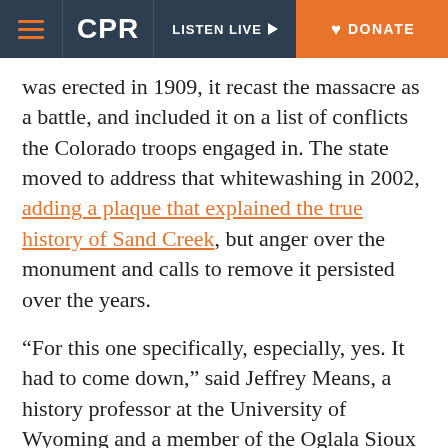CPR | LISTEN LIVE | DONATE
was erected in 1909, it recast the massacre as a battle, and included it on a list of conflicts the Colorado troops engaged in. The state moved to address that whitewashing in 2002, adding a plaque that explained the true history of Sand Creek, but anger over the monument and calls to remove it persisted over the years.
“For this one specifically, especially, yes. It had to come down,” said Jeffrey Means, a history professor at the University of Wyoming and a member of the Oglala Sioux nation. While Means thinks the history of Colorado’s volunteer cavalry should be remembered, the heroic side can’t be separated from the brutal.